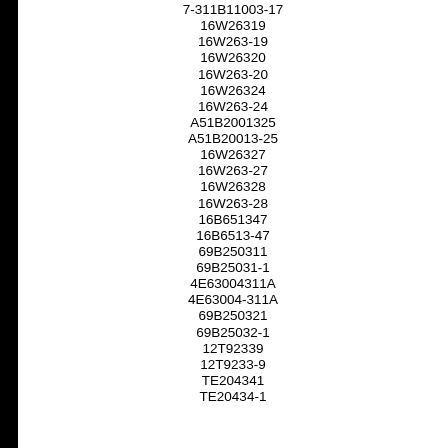7-311B11003-17
16W26319
16W263-19
16W26320
16W263-20
16W26324
16W263-24
A51B2001325
A51B20013-25
16W26327
16W263-27
16W26328
16W263-28
16B651347
16B6513-47
69B250311
69B25031-1
4E63004311A
4E63004-311A
69B250321
69B25032-1
12T92339
12T9233-9
TE204341
TE20434-1